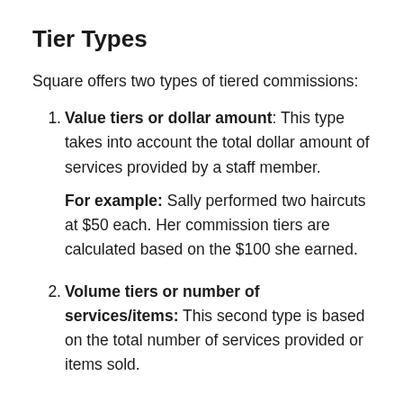Tier Types
Square offers two types of tiered commissions:
Value tiers or dollar amount: This type takes into account the total dollar amount of services provided by a staff member.

For example: Sally performed two haircuts at $50 each. Her commission tiers are calculated based on the $100 she earned.
Volume tiers or number of services/items: This second type is based on the total number of services provided or items sold.